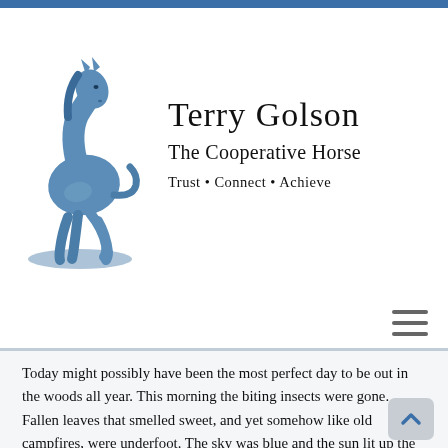[Figure (logo): Blue illustrated horse (rearing/trotting) with shadow, next to text 'Terry Golson / The Cooperative Horse / Trust • Connect • Achieve']
Terry Golson
The Cooperative Horse
Trust • Connect • Achieve
Today might possibly have been the most perfect day to be out in the woods all year. This morning the biting insects were gone. Fallen leaves that smelled sweet, and yet somehow like old campfires, were underfoot. The sky was blue and the sun lit up the leaves still in the trees so that the world glowed like old stained glass.